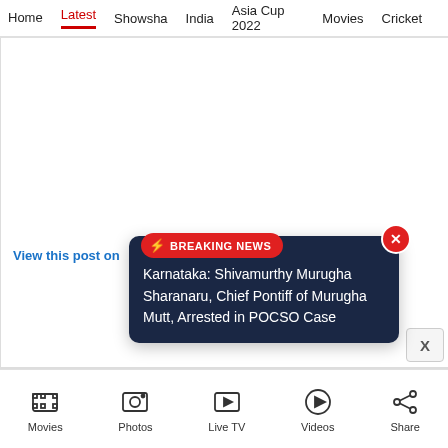Home | Latest | Showsha | India | Asia Cup 2022 | Movies | Cricket
[Figure (screenshot): White blank content area with a 'View this post on' blue link text and a breaking news overlay popup]
View this post on
⚡ BREAKING NEWS
Karnataka: Shivamurthy Murugha Sharanaru, Chief Pontiff of Murugha Mutt, Arrested in POCSO Case
Movies | Photos | Live TV | Videos | Share